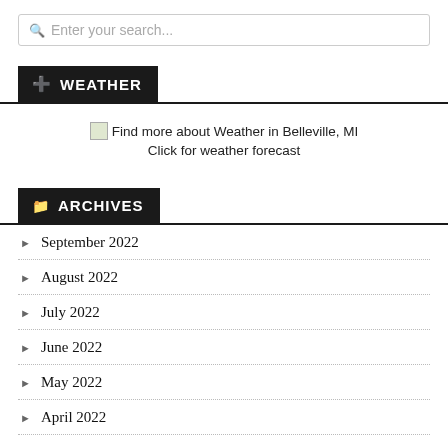Enter your search...
WEATHER
Find more about Weather in Belleville, MI Click for weather forecast
ARCHIVES
September 2022
August 2022
July 2022
June 2022
May 2022
April 2022